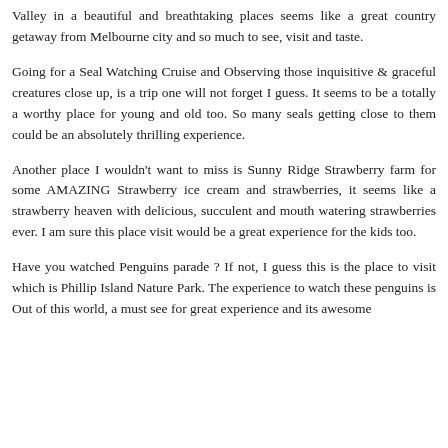Valley in a beautiful and breathtaking places seems like a great country getaway from Melbourne city and so much to see, visit and taste.
Going for a Seal Watching Cruise and Observing those inquisitive & graceful creatures close up, is a trip one will not forget I guess. It seems to be a totally a worthy place for young and old too. So many seals getting close to them could be an absolutely thrilling experience.
Another place I wouldn't want to miss is Sunny Ridge Strawberry farm for some AMAZING Strawberry ice cream and strawberries, it seems like a strawberry heaven with delicious, succulent and mouth watering strawberries ever. I am sure this place visit would be a great experience for the kids too.
Have you watched Penguins parade ? If not, I guess this is the place to visit which is Phillip Island Nature Park. The experience to watch these penguins is Out of this world, a must see for great experience and its awesome